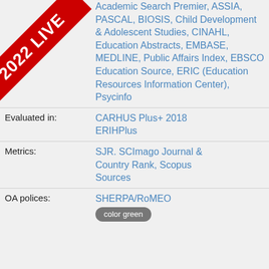[Figure (other): Red diagonal banner in top-left corner with white text '2022 LIVE']
Academic Search Premier, ASSIA, PASCAL, BIOSIS, Child Development & Adolescent Studies, CINAHL, Education Abstracts, EMBASE, MEDLINE, Public Affairs Index, EBSCO Education Source, ERIC (Education Resources Information Center), Psycinfo
Evaluated in: CARHUS Plus+ 2018 ERIHPlus
Metrics: SJR. SCImago Journal & Country Rank, Scopus Sources
OA polices: SHERPA/RoMEO
color green